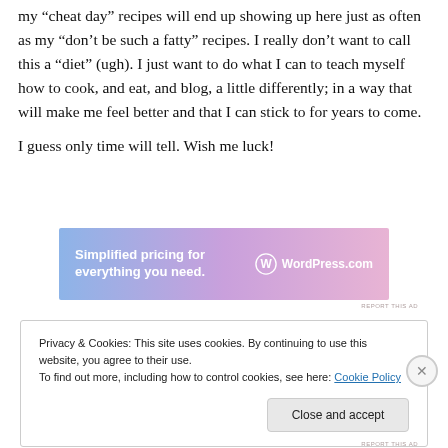my “cheat day” recipes will end up showing up here just as often as my “don’t be such a fatty” recipes. I really don’t want to call this a “diet” (ugh). I just want to do what I can to teach myself how to cook, and eat, and blog, a little differently; in a way that will make me feel better and that I can stick to for years to come.
I guess only time will tell. Wish me luck!
[Figure (other): WordPress.com advertisement banner: 'Simplified pricing for everything you need.' with WordPress.com logo on gradient blue-purple-pink background.]
REPORT THIS AD
Privacy & Cookies: This site uses cookies. By continuing to use this website, you agree to their use.
To find out more, including how to control cookies, see here: Cookie Policy
Close and accept